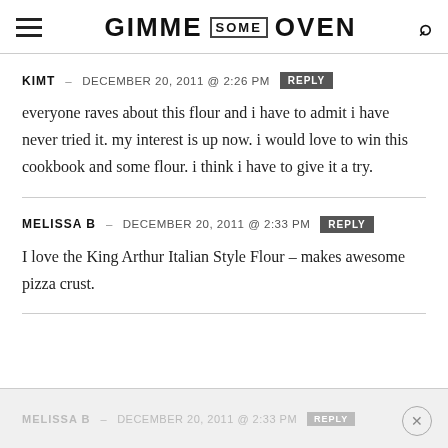GIMME SOME OVEN
KIMT – DECEMBER 20, 2011 @ 2:26 PM  REPLY
everyone raves about this flour and i have to admit i have never tried it. my interest is up now. i would love to win this cookbook and some flour. i think i have to give it a try.
MELISSA B – DECEMBER 20, 2011 @ 2:33 PM  REPLY
I love the King Arthur Italian Style Flour – makes awesome pizza crust.
MELISSA B – DECEMBER 20, 2011 @ 2:33 PM  REPLY